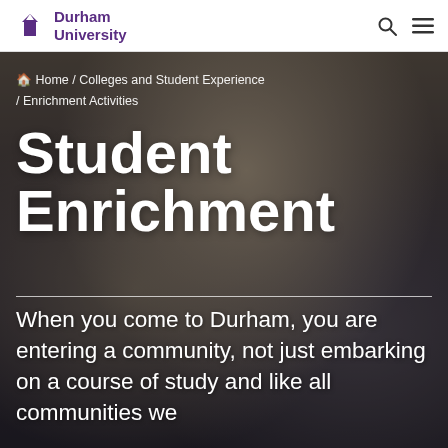Durham University
[Figure (photo): Student smiling and talking outdoors, blurred background with other people, hero image for Student Enrichment page]
Home / Colleges and Student Experience / Enrichment Activities
Student Enrichment
When you come to Durham, you are entering a community, not just embarking on a course of study and like all communities we